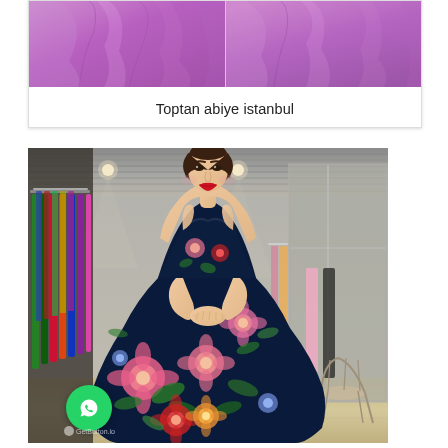[Figure (photo): Two side-by-side photos of a long purple evening gown/abiye dress shown in full length against a neutral background.]
Toptan abiye istanbul
[Figure (photo): A young woman wearing a navy blue floral ball gown with sweetheart neckline, standing inside a dress boutique store with racks of colorful gowns visible in the background. A WhatsApp button and GetButton.io badge are visible in the lower left corner.]